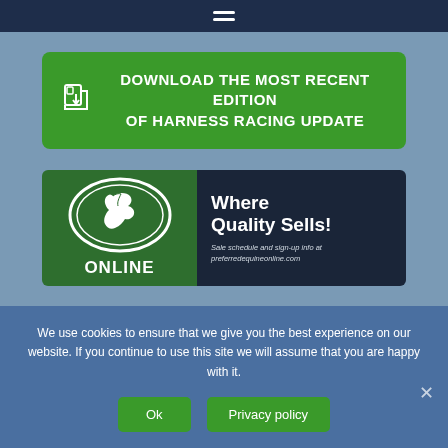Navigation menu (hamburger icon)
[Figure (logo): Download the most recent edition of Harness Racing Update - green button with download icon]
[Figure (advertisement): Preferred Equine Online ad banner - Where Quality Sells! Sale schedule and sign-up info at preferredequineonline.com]
We use cookies to ensure that we give you the best experience on our website. If you continue to use this site we will assume that you are happy with it.
Ok   Privacy policy